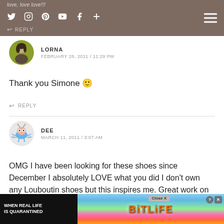love, love love!!! [nav icons: Twitter, Instagram, Pinterest, YouTube, Facebook, +] [hamburger menu]
← REPLY
[Figure (photo): Avatar photo of Lorna - woman with dark hair on yellow-green background]
LORNA
FEBRUARY 28, 2011 / 11:29 PM
Thank you Simone 🙂
← REPLY
[Figure (illustration): Avatar illustration of Dee - cartoon bug/crab character on grey background]
DEE
MARCH 11, 2011 / 3:07 AM
OMG I have been looking for these shoes since December I absolutely LOVE what you did I don't own any Louboutin shoes but this inspires me. Great work on your DIY shoes!!!
← REPLY
[Figure (screenshot): Advertisement: WHEN REAL LIFE IS QUARANTINED - BitLife game ad with colorful characters. Close X button visible.]